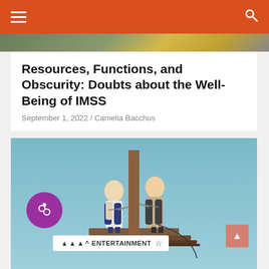Navigation bar with hamburger menu and search icon
[Figure (photo): Partially visible image strip at top of page showing outdoor scene]
Resources, Functions, and Obscurity: Doubts about the Well-Being of IMSS
September 1, 2022 / Camelia Bacchus
[Figure (photo): Two people wearing climbing harnesses standing on elevated metal platform against a clear sky background, with a purple circle icon overlay and Entertainment tag with star rating]
ENTERTAINMENT